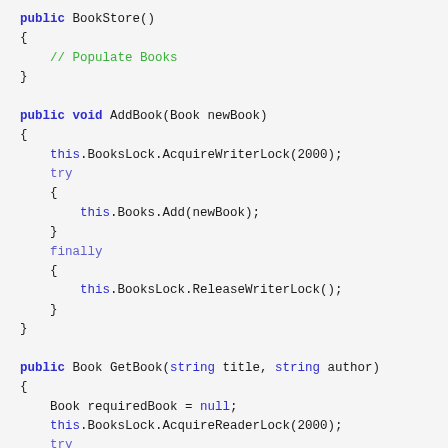[Figure (screenshot): C# source code showing BookStore constructor and AddBook/GetBook methods with syntax highlighting. Keywords in blue, comment in green, regular code in dark.]